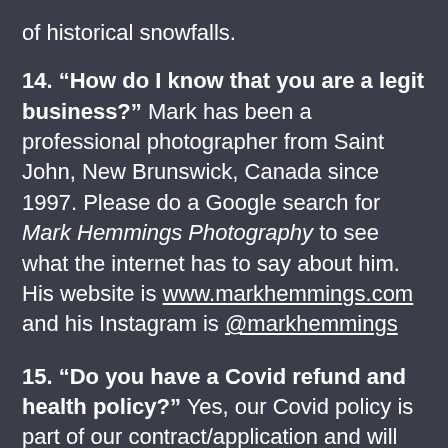of historical snowfalls.
14. “How do I know that you are a legit business?” Mark has been a professional photographer from Saint John, New Brunswick, Canada since 1997. Please do a Google search for Mark Hemmings Photography to see what the internet has to say about him. His website is www.markhemmings.com and his Instagram is @markhemmings
15. “Do you have a Covid refund and health policy?” Yes, our Covid policy is part of our contract/application and will be emailed to you